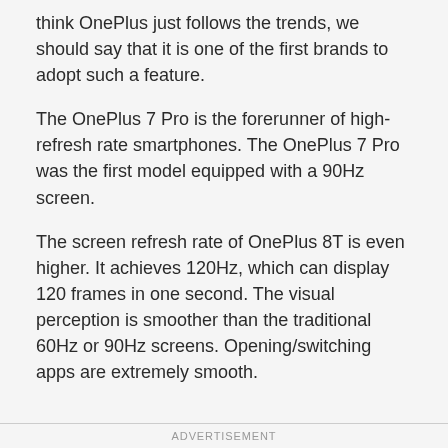think OnePlus just follows the trends, we should say that it is one of the first brands to adopt such a feature.
The OnePlus 7 Pro is the forerunner of high-refresh rate smartphones. The OnePlus 7 Pro was the first model equipped with a 90Hz screen.
The screen refresh rate of OnePlus 8T is even higher. It achieves 120Hz, which can display 120 frames in one second. The visual perception is smoother than the traditional 60Hz or 90Hz screens. Opening/switching apps are extremely smooth.
ADVERTISEMENT